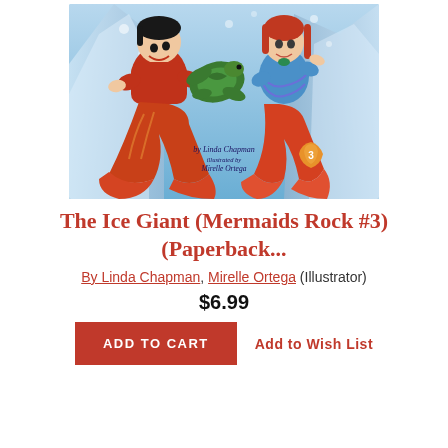[Figure (illustration): Book cover for 'The Ice Giant (Mermaids Rock #3)' showing a boy merman in red with an orange tail on the left, a girl mermaid in blue with a red orange tail on the right, a green sea turtle in the center, against an underwater icy glacier background. Text reads 'by Linda Chapman, illustrated by Mirelle Ortega' with a shell badge numbered 3.]
The Ice Giant (Mermaids Rock #3) (Paperback...
By Linda Chapman, Mirelle Ortega (Illustrator)
$6.99
ADD TO CART
Add to Wish List